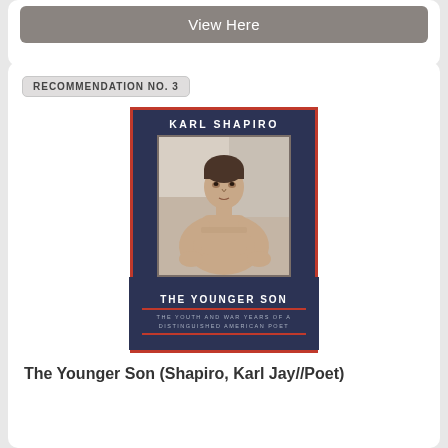View Here
RECOMMENDATION NO. 3
[Figure (illustration): Book cover of 'The Younger Son' by Karl Shapiro. Dark navy blue background with red border. Shows a black and white photo of a young man sitting shirtless. Title reads 'THE YOUNGER SON' with subtitle 'THE YOUTH AND WAR YEARS OF A DISTINGUISHED AMERICAN POET'.]
The Younger Son (Shapiro, Karl Jay//Poet)